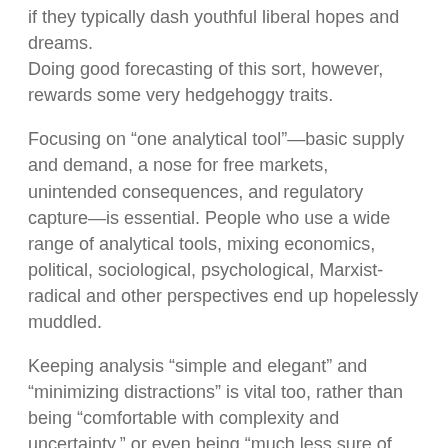if they typically dash youthful liberal hopes and dreams.
Doing good forecasting of this sort, however, rewards some very hedgehoggy traits.
Focusing on “one analytical tool”—basic supply and demand, a nose for free markets, unintended consequences, and regulatory capture—is essential. People who use a wide range of analytical tools, mixing economics, political, sociological, psychological, Marxist-radical and other perspectives end up hopelessly muddled.
Keeping analysis “simple and elegant” and “minimizing distractions” is vital too, rather than being “comfortable with complexity and uncertainty,” or even being “much less sure of oneself.” Especially around policy debates, one is quickly drowned in mind-blowing detail. Keeping the simple picture and a few basic principles in mind is the only hope.